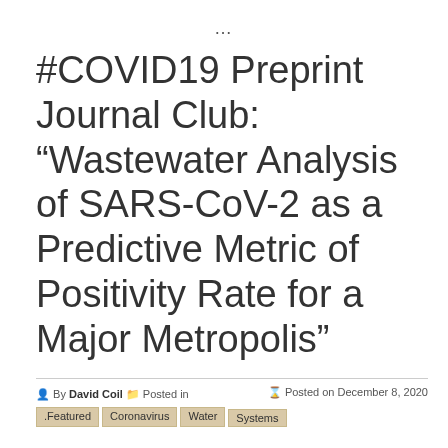…
#COVID19 Preprint Journal Club: “Wastewater Analysis of SARS-CoV-2 as a Predictive Metric of Positivity Rate for a Major Metropolis”
By David Coil  Posted in  Posted on December 8, 2020
.Featured
Coronavirus
Water Systems